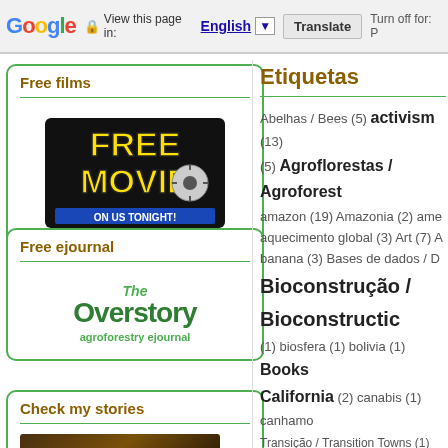Google — View this page in: English ▼ | Translate | Turn off for: P
Free films
[Figure (logo): Free Movie On Us Tonight logo — yellow and black bold text with film reel graphic]
Free ejournal
[Figure (logo): The Overstory agroforestry ejournal logo — green bold text]
Check my stories
Etiquetas
Abelhas / Bees (5) activism (13) (5) Agroflorestas / Agroforest amazon (19) Amazonia (2) ame aquecimento global (3) Art (7) A banana (3) Bases de dados / D Bioconstrução / Bioconstructic (1) biosfera (1) bolivia (1) Books California (2) canabis (1) canhamo Transição / Transition Towns (1) C colorado (1) comestiveis (1) comics c compost toillet (1) composto (1) Cor Courses (5) Courses/Cursos curso (3) curso / course (1) Curso Holmgren (9) death (1) Decreści Design (33) dicas (1) dinheiro Ecoaldeias / Ecovillages (7) ed